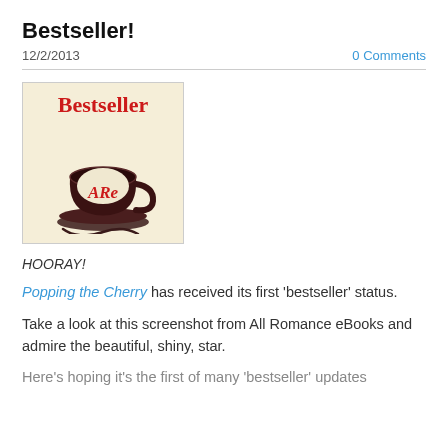Bestseller!
12/2/2013    0 Comments
[Figure (logo): All Romance eBooks Bestseller badge: cream/beige background with dark red border, red italic 'Bestseller' text at top, illustration of a dark brown coffee cup with 'ARe' written in red script on the cup, with saucer and swirl below.]
HOORAY!
Popping the Cherry has received its first 'bestseller' status.
Take a look at this screenshot from All Romance eBooks and admire the beautiful, shiny, star.
Here's hoping it's the first of many 'bestseller' updates